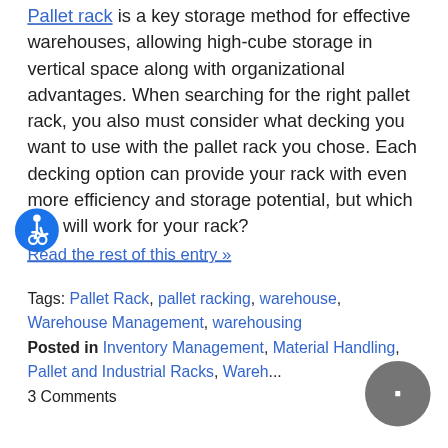Pallet rack is a key storage method for effective warehouses, allowing high-cube storage in vertical space along with organizational advantages. When searching for the right pallet rack, you also must consider what decking you want to use with the pallet rack you chose. Each decking option can provide your rack with even more efficiency and storage potential, but which one will work for your rack?
[Figure (illustration): Blue circle accessibility icon with wheelchair symbol]
Read the rest of this entry »
Tags: Pallet Rack, pallet racking, warehouse, Warehouse Management, warehousing
Posted in Inventory Management, Material Handling, Pallet and Industrial Racks, Warehouse
3 Comments
[Figure (illustration): Gray circular chat/comment button with white square stop icon]